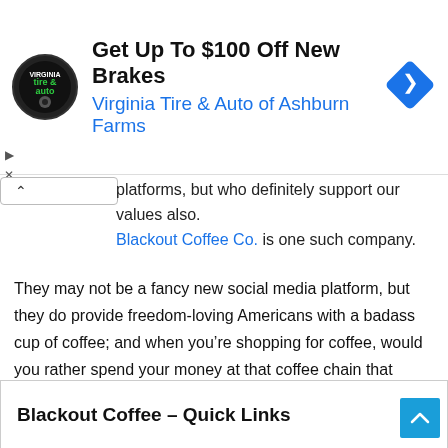[Figure (other): Advertisement banner: Virginia Tire & Auto logo (circular black badge), headline 'Get Up To $100 Off New Brakes', subline 'Virginia Tire & Auto of Ashburn Farms', blue diamond navigation icon. Play and X controls on left side.]
platforms, but who definitely support our values also. Blackout Coffee Co. is one such company.
They may not be a fancy new social media platform, but they do provide freedom-loving Americans with a badass cup of coffee; and when you’re shopping for coffee, would you rather spend your money at that coffee chain that charges way too much and supports leftists that want you silenced? Or would you rather spend your money with a company that supports the 2nd Amendment and donates coffee to deployed American troops? I think we both know the answer.
Blackout Coffee – Quick Links